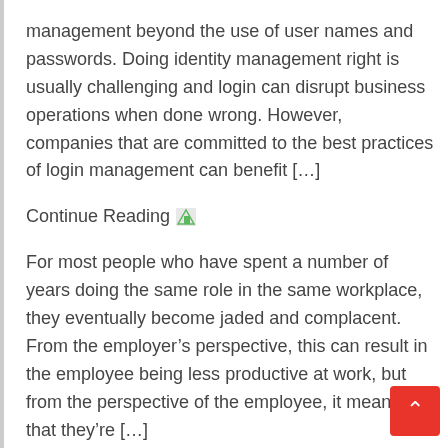management beyond the use of user names and passwords. Doing identity management right is usually challenging and login can disrupt business operations when done wrong. However, companies that are committed to the best practices of login management can benefit [...]
Continue Reading
For most people who have spent a number of years doing the same role in the same workplace, they eventually become jaded and complacent. From the employer's perspective, this can result in the employee being less productive at work, but from the perspective of the employee, it means that they're [...]